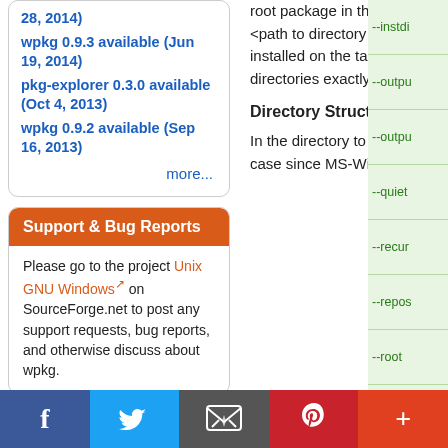28, 2014)
wpkg 0.9.3 available (Jun 19, 2014)
pkg-explorer 0.3.0 available (Oct 4, 2013)
wpkg 0.9.2 available (Sep 16, 2013)
more...
Support & Bug Reports
Please go to the project Unix GNU Windows on SourceForge.net to post any support requests, bug reports, and otherwise discuss about wpkg.
Video Tutorial (Get Started)
root package in the current directory (see also the --output-dir option) using the package data defined under <path to directory to package>. The directory is expected to include sub-directories with the different files to be installed on the target (i.e. usr/bin/my-app.exe and usr/share/doc/my-app/copyright) ordered within those directories exactly as they will appear in the root of the target machine.
Directory Structure
In the directory to package, there should be a WPKG directory (wpkg also checks for DEBIAN and ignores the case since MS-Windows has a disk system that is case insensitive.) The WPKG
--instdi
--outpu
--outpu
--quiet
--recur
--repos
--root